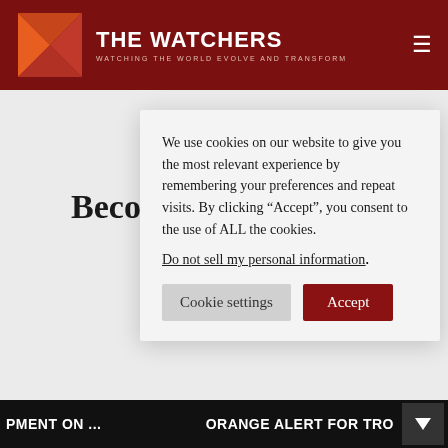THE WATCHERS — WATCHING THE WORLD EVOLVE AND TRANSFORM
[Figure (illustration): Group/users icon — two person silhouettes outline in dark gray]
Become a part of our
Your supp... sustainab... focused o...
We use cookies on our website to give you the most relevant experience by remembering your preferences and repeat visits. By clicking “Accept”, you consent to the use of ALL the cookies. Do not sell my personal information.
Cookie settings | Accept
PMENT ON ... ORANGE ALERT FOR TRO...